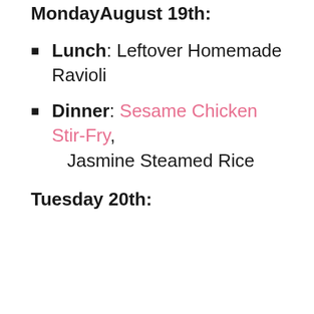MondayAugust 19th:
Lunch: Leftover Homemade Ravioli
Dinner: Sesame Chicken Stir-Fry, Jasmine Steamed Rice
Tuesday 20th: